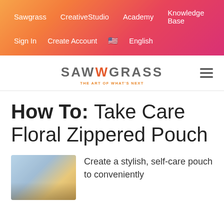Sawgrass   CreativeStudio   Academy   Knowledge Base
Sign In   Create Account   🇺🇸 English
[Figure (logo): Sawgrass logo with text 'SAWGRASS' and tagline 'THE ART OF WHAT'S NEXT']
How To: Take Care Floral Zippered Pouch
[Figure (photo): Photo of hands working on a craft project on a wooden table, with colorful materials visible]
Create a stylish, self-care pouch to conveniently